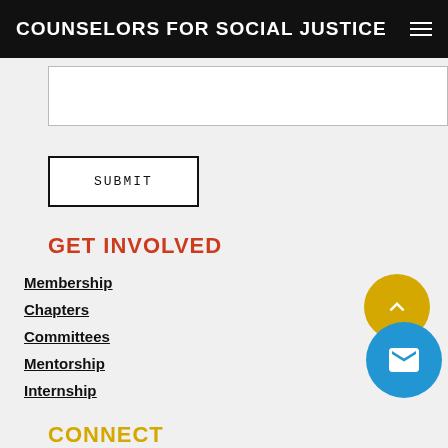COUNSELORS FOR SOCIAL JUSTICE
[textarea input field]
SUBMIT
GET INVOLVED
Membership
Chapters
Committees
Mentorship
Internship
CONNECT
Announcements